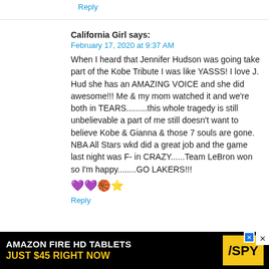Reply
California Girl says:
February 17, 2020 at 9:37 AM
When I heard that Jennifer Hudson was going take part of the Kobe Tribute I was like YASSS! I love J. Hud she has an AMAZING VOICE and she did awesome!!! Me & my mom watched it and we're both in TEARS.........this whole tragedy is still unbelievable a part of me still doesn't want to believe Kobe & Gianna & those 7 souls are gone. NBA All Stars wkd did a great job and the game last night was F- in CRAZY......Team LeBron won so I'm happy........GO LAKERS!!! 💜💜🏀⭐
Reply
Janet says:
February 17, 2020 at 12:36 PM
[Figure (screenshot): Advertisement banner: AMAZON FIRE HD TABLETS JUST $45 RIGHT NOW with SPY logo]